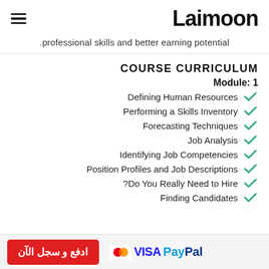Laimoon
.professional skills and better earning potential
COURSE CURRICULUM
Module: 1
Defining Human Resources
Performing a Skills Inventory
Forecasting Techniques
Job Analysis
Identifying Job Competencies
Position Profiles and Job Descriptions
Do You Really Need to Hire?
Finding Candidates
ادفع و سجل الآن   VISA PayPal